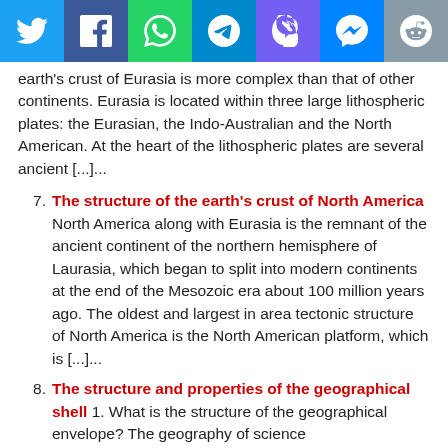[Figure (other): Social media sharing buttons bar: Twitter, Facebook, WhatsApp, Telegram, Viber, Messenger, Reddit]
earth's crust of Eurasia is more complex than that of other continents. Eurasia is located within three large lithospheric plates: the Eurasian, the Indo-Australian and the North American. At the heart of the lithospheric plates are several ancient [...]...
7. The structure of the earth's crust of North America North America along with Eurasia is the remnant of the ancient continent of the northern hemisphere of Laurasia, which began to split into modern continents at the end of the Mesozoic era about 100 million years ago. The oldest and largest in area tectonic structure of North America is the North American platform, which is [...]...
8. The structure and properties of the geographical shell 1. What is the structure of the geographical envelope? The geography of science